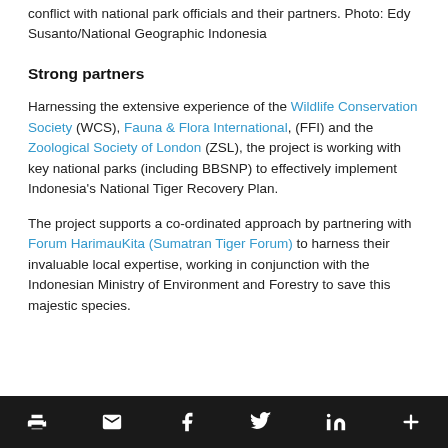conflict with national park officials and their partners. Photo: Edy Susanto/National Geographic Indonesia
Strong partners
Harnessing the extensive experience of the Wildlife Conservation Society (WCS), Fauna & Flora International, (FFI) and the Zoological Society of London (ZSL), the project is working with key national parks (including BBSNP) to effectively implement Indonesia's National Tiger Recovery Plan.
The project supports a co-ordinated approach by partnering with Forum HarimauKita (Sumatran Tiger Forum) to harness their invaluable local expertise, working in conjunction with the Indonesian Ministry of Environment and Forestry to save this majestic species.
Social share icons: print, email, facebook, twitter, linkedin, more